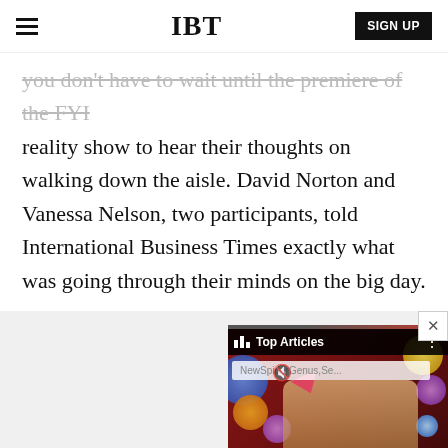IBT | SIGN UP
you don't have to wait until the premiere of the FYI reality show to hear their thoughts on walking down the aisle. David Norton and Vanessa Nelson, two participants, told International Business Times exactly what was going through their minds on the big day.
[Figure (screenshot): Advertisement overlay showing 'Top Articles' card with 'NewSpiderGenus,Se...' search field, displayed over a colorful artistic image resembling David Bowie]
Advertisement